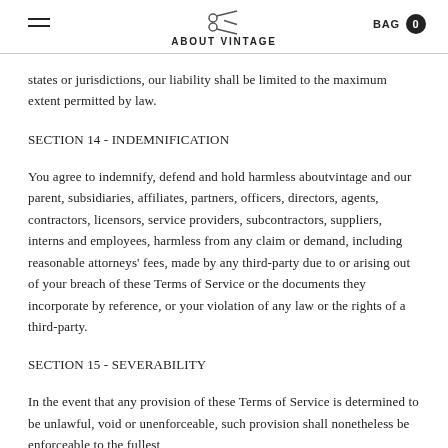ABOUT VINTAGE
states or jurisdictions, our liability shall be limited to the maximum extent permitted by law.
SECTION 14 - INDEMNIFICATION
You agree to indemnify, defend and hold harmless aboutvintage and our parent, subsidiaries, affiliates, partners, officers, directors, agents, contractors, licensors, service providers, subcontractors, suppliers, interns and employees, harmless from any claim or demand, including reasonable attorneys' fees, made by any third-party due to or arising out of your breach of these Terms of Service or the documents they incorporate by reference, or your violation of any law or the rights of a third-party.
SECTION 15 - SEVERABILITY
In the event that any provision of these Terms of Service is determined to be unlawful, void or unenforceable, such provision shall nonetheless be enforceable to the fullest